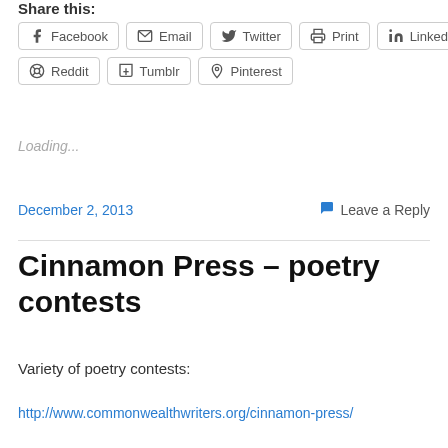Share this:
Facebook  Email  Twitter  Print  LinkedIn  Reddit  Tumblr  Pinterest
Loading...
December 2, 2013
Leave a Reply
Cinnamon Press – poetry contests
Variety of poetry contests:
http://www.commonwealthwriters.org/cinnamon-press/